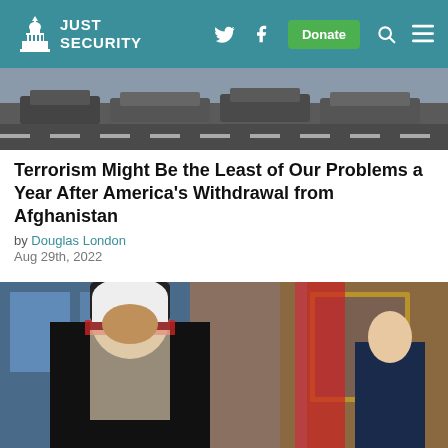JUST SECURITY
[Figure (photo): Cars and trucks on a road, likely in Afghanistan]
Terrorism Might Be the Least of Our Problems a Year After America's Withdrawal from Afghanistan
by Douglas London
Aug 29th, 2022
[Figure (photo): Two men standing side by side in formal attire, one in traditional Saudi dress, one in a dark suit, inside an ornate room with flags and a painting]
Need for US Ethics Reform Is Far from History: Kushner-MBS Deal Reflects Broken System
by Virginia Canter and Gabe Lezra
Aug 26th, 2022